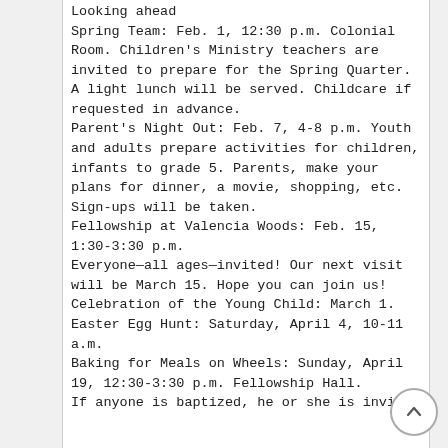Looking ahead
Spring Team: Feb. 1, 12:30 p.m. Colonial Room. Children's Ministry teachers are invited to prepare for the Spring Quarter. A light lunch will be served. Childcare if requested in advance.
Parent's Night Out: Feb. 7, 4-8 p.m. Youth and adults prepare activities for children, infants to grade 5. Parents, make your plans for dinner, a movie, shopping, etc. Sign-ups will be taken.
Fellowship at Valencia Woods: Feb. 15, 1:30-3:30 p.m.
Everyone—all ages—invited! Our next visit will be March 15. Hope you can join us!
Celebration of the Young Child: March 1.
Easter Egg Hunt: Saturday, April 4, 10-11 a.m.
Baking for Meals on Wheels: Sunday, April 19, 12:30-3:30 p.m. Fellowship Hall.
If anyone is baptized, he or she is invi